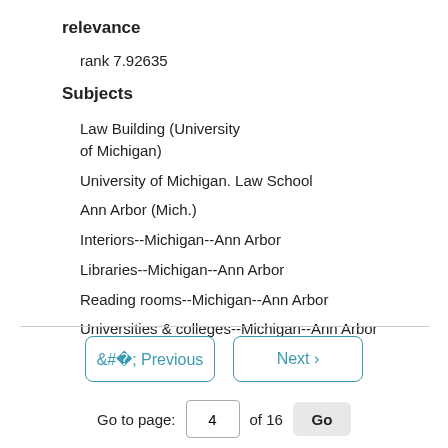relevance
rank 7.92635
Subjects
Law Building (University of Michigan)
University of Michigan. Law School
Ann Arbor (Mich.)
Interiors--Michigan--Ann Arbor
Libraries--Michigan--Ann Arbor
Reading rooms--Michigan--Ann Arbor
Universities & colleges--Michigan--Ann Arbor
< Previous   Next >
Go to page: 4 of 16 Go